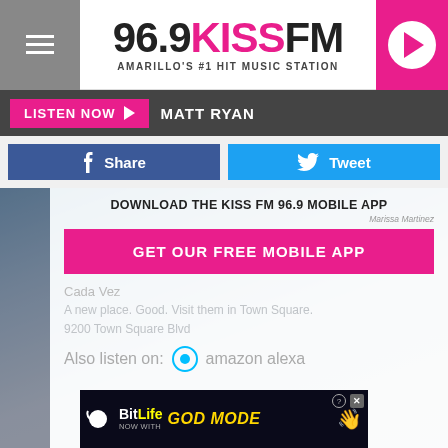96.9 KISS FM — AMARILLO'S #1 HIT MUSIC STATION
LISTEN NOW ▶  MATT RYAN
Share  Tweet
DOWNLOAD THE KISS FM 96.9 MOBILE APP
Marissa Martinez
Cada Vez
GET OUR FREE MOBILE APP
A new place. Good. Visit them in Town Square.
9200 Town Square Blvd
Also listen on:  amazon alexa
[Figure (screenshot): BitLife advertisement banner: BitLife NOW WITH GOD MODE with hand/snap graphic and close button]